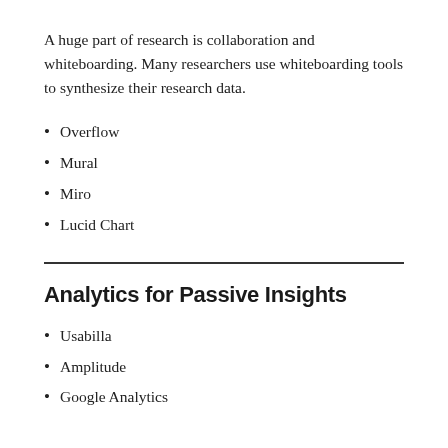A huge part of research is collaboration and whiteboarding. Many researchers use whiteboarding tools to synthesize their research data.
Overflow
Mural
Miro
Lucid Chart
Analytics for Passive Insights
Usabilla
Amplitude
Google Analytics